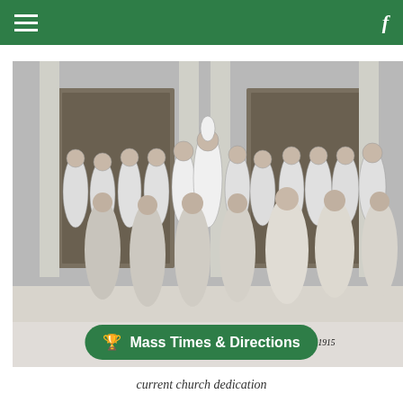≡  f
[Figure (photo): Historical black-and-white group photograph of clergy and servers in white vestments/robes standing in front of a church entrance with columns. Caption reads: Church Dedication Day, October 3, 1915]
Church Dedication Day, October 3, 1915
⚱ Mass Times & Directions
current church dedication